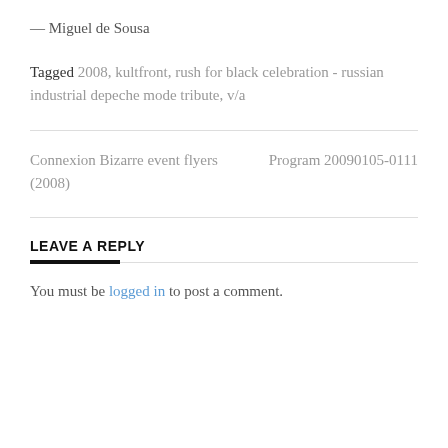— Miguel de Sousa
Tagged 2008, kultfront, rush for black celebration - russian industrial depeche mode tribute, v/a
Connexion Bizarre event flyers (2008)
Program 20090105-0111
LEAVE A REPLY
You must be logged in to post a comment.